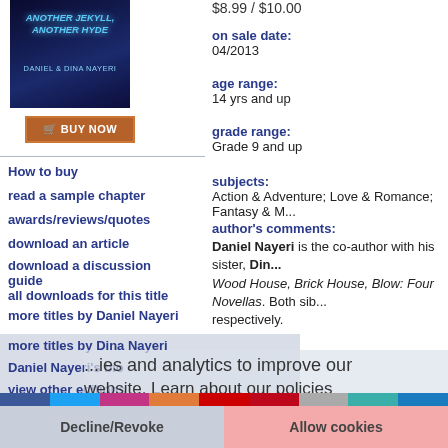[Figure (illustration): Book cover for 'Another Jekyll, Another Hyde' by Daniel & Dina Nayeri, dark blue with stylized text]
BUY NOW (button)
$8.99 / $10.00
on sale date: 04/2013
age range: 14 yrs and up
grade range: Grade 9 and up
subjects: Action & Adventure; Love & Romance; Fantasy & M...
author's comments: Daniel Nayeri is the co-author with his sister, Din... Wood House, Brick House, Blow: Four Novellas. Both sib... respectively.
How to buy
read a sample chapter
awards/reviews/quotes
download an article
download a discussion guide
all downloads for this title
more titles by Daniel Nayeri
more titles by Dina Nayeri
Daniel Nayeri's bio
view other editions
...ies and analytics to improve our website. Learn about our policies
Decline/Revoke | Allow cookies